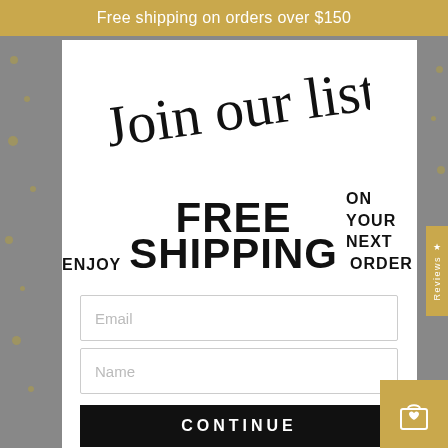Free shipping on orders over $150
Join our list
ENJOY FREE SHIPPING ON YOUR NEXT ORDER
Email
Name
CONTINUE